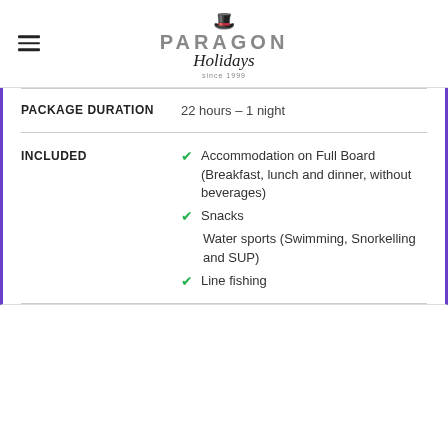[Figure (logo): Paragon Holidays logo with top hat icon, 'PARAGON' in grey capitals, 'Holidays' in italic script, 'Since 1999' below]
PACKAGE DURATION	22 hours – 1 night
Accommodation on Full Board (Breakfast, lunch and dinner, without beverages)
Snacks
Water sports (Swimming, Snorkelling and SUP)
Line fishing